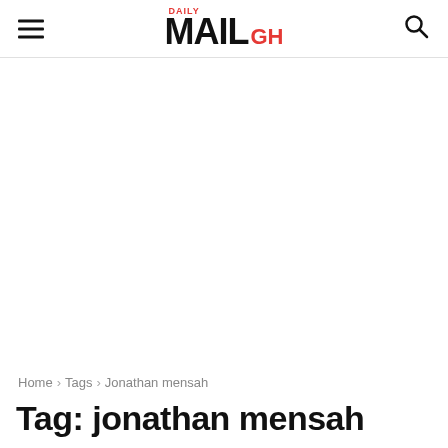Daily MAIL GH
Home › Tags › Jonathan mensah
Tag: jonathan mensah